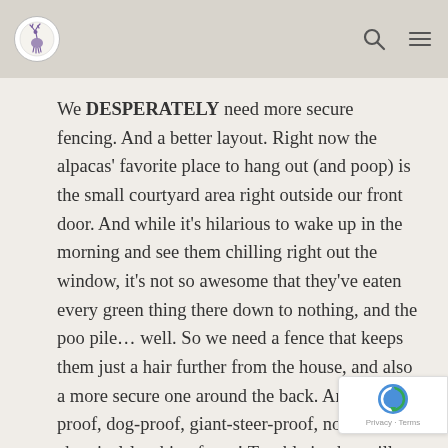[Logo] [Search icon] [Menu icon]
We DESPERATELY need more secure fencing. And a better layout. Right now the alpacas' favorite place to hang out (and poop) is the small courtyard area right outside our front door. And while it's hilarious to wake up in the morning and see them chilling right out the window, it's not so awesome that they've eaten every green thing there down to nothing, and the poo pile... well. So we need a fence that keeps them just a hair further from the house, and also a more secure one around the back. An alpaca-proof, dog-proof, giant-steer-proof, non-chemical-leeching fence! Trouble is, that will cost thousands of dollars. Cue the NRCS funding to support our rotational alpaca...